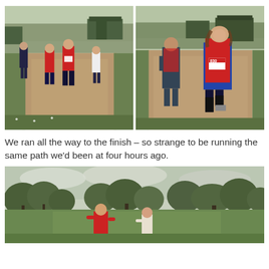[Figure (photo): Two side-by-side photos of runners on a dirt trail path with green grass and farm buildings in background. Left photo shows multiple runners including women in red vests and black knee-high socks running toward camera. Right photo is a closer shot of a smiling woman in red vest with race number 830 and a man in dark clothes running on the same dirt trail.]
We ran all the way to the finish – so strange to be running the same path we'd been at four hours ago.
[Figure (photo): Photo of two runners (a man in red vest and a woman) running across a wide open green field with large trees lining the background under a cloudy sky.]